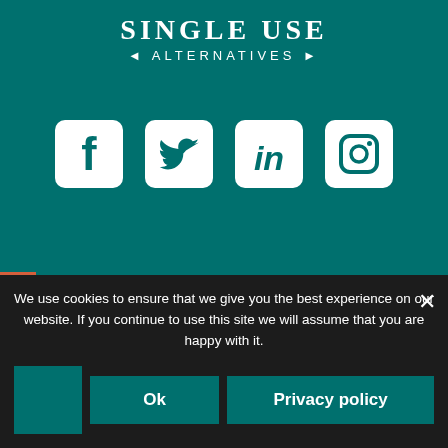SINGLE USE
◄ ALTERNATIVES ►
[Figure (illustration): Row of four social media icons: Facebook, Twitter, LinkedIn, Instagram — white rounded-square icons on teal background]
[Figure (illustration): Filters vertical tab on left side, orange background with white rotated text 'Filters']
See our 167 reviews on ★ Trustpilot
[Figure (logo): SME logo with grey S block, yellow M block, brown E block on white background]
We use cookies to ensure that we give you the best experience on our website. If you continue to use this site we will assume that you are happy with it.
[Figure (logo): Small teal square logo in cookie banner]
Ok
Privacy policy